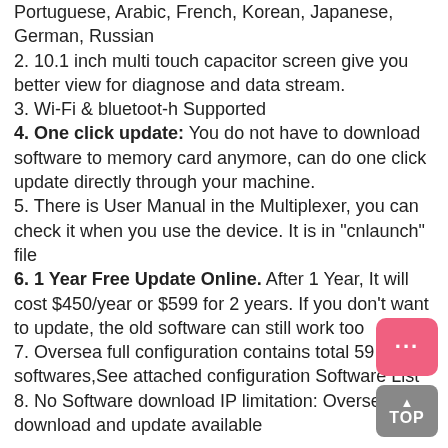Portuguese, Arabic, French, Korean, Japanese, German, Russian
2. 10.1 inch multi touch capacitor screen give you better view for diagnose and data stream.
3. Wi-Fi & bluetoot-h Supported
4. One click update: You do not have to download software to memory card anymore, can do one click update directly through your machine.
5. There is User Manual in the Multiplexer, you can check it when you use the device. It is in "cnlaunch" file
6. 1 Year Free Update Online. After 1 Year, It will cost $450/year or $599 for 2 years. If you don't want to update, the old software can still work too
7. Oversea full configuration contains total 59 softwares,See attached configuration Software List
8. No Software download IP limitation: Oversea download and update available
What are the advantanges of X431 V+?
1. HUAWEI HiSilicon Quod-core 1.2G HZ speed